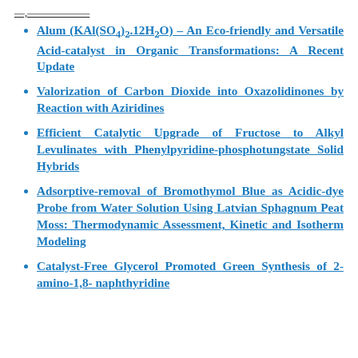—,——————
Alum (KAl(SO4)2.12H2O) – An Eco-friendly and Versatile Acid-catalyst in Organic Transformations: A Recent Update
Valorization of Carbon Dioxide into Oxazolidinones by Reaction with Aziridines
Efficient Catalytic Upgrade of Fructose to Alkyl Levulinates with Phenylpyridine-phosphotungstate Solid Hybrids
Adsorptive-removal of Bromothymol Blue as Acidic-dye Probe from Water Solution Using Latvian Sphagnum Peat Moss: Thermodynamic Assessment, Kinetic and Isotherm Modeling
Catalyst-Free Glycerol Promoted Green Synthesis of 2-amino-1,8- naphthyridine